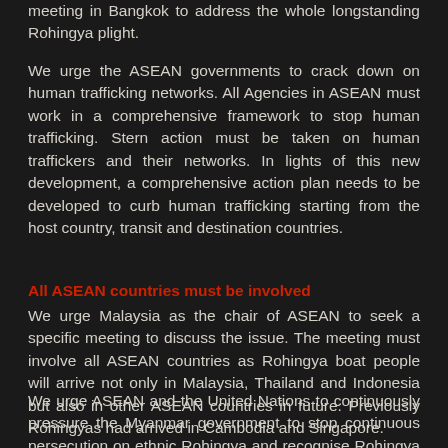We urge the Myanmar government to come forward and attend the meeting in Bangkok to address the whole longstanding Rohingya plight.
We urge the ASEAN governments to crack down on human trafficking networks. All Agencies in ASEAN must work in a comprehensive framework to stop human trafficking. Stern action must be taken on human traffickers and their networks. In lights of this new development, a comprehensive action plan needs to be developed to curb human trafficking starting from the host country, transit and destination countries.
All ASEAN countries must be involved
We urge Malaysia as the chair of ASEAN to seek a specific meeting to discuss the issue. The meeting must involve all ASEAN countries as Rohingya boat people will arrive not only in Malaysia, Thailand and Indonesia but also in other ASEAN countries in future. Previously Rohingyas had arrived in Cambodia and Singapore.
We urge ASEAN and the United Nations to continuously pressure the Myanmar government to stop continuous persecution on ethnic Rohingya and recognise Rohingya as citizens under the 1982 Citizenship Law.